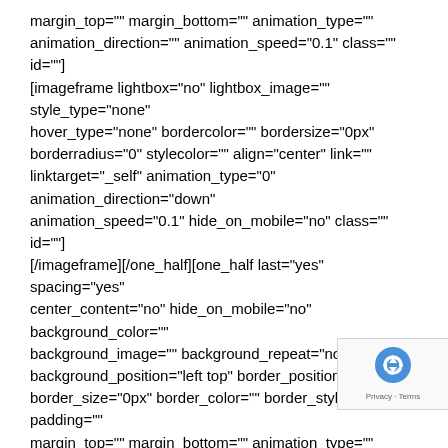margin_top="" margin_bottom="" animation_type="" animation_direction="" animation_speed="0.1" class="" id=""] [imageframe lightbox="no" lightbox_image="" style_type="none" hover_type="none" bordercolor="" bordersize="0px" borderradius="0" stylecolor="" align="center" link="" linktarget="_self" animation_type="0" animation_direction="down" animation_speed="0.1" hide_on_mobile="no" class="" id=""] [/imageframe][/one_half][one_half last="yes" spacing="yes" center_content="no" hide_on_mobile="no" background_color="" background_image="" background_repeat="no-repeat" background_position="left top" border_position="all" border_size="0px" border_color="" border_style="" padding="" margin_top="" margin_bottom="" animation_type="" animation_direction="" animation_speed="0.1" class="" id=""] [imageframe lightbox="no" lightbox_image="" style_type="none" hover_type="none" bordercolor="" bordersize="0px" borderradius="0" stylecolor="" align="center" link="" linktarget="_self" animation_type="0" animation_direction="down" animation_speed="0.1" hide_on_mobile="no" class="" id=""] [/imageframe][/one_half][one_half last="no" spacing="yes" center_content="no" hide_on_mobile="no" background_col... background_image="" background_repeat="no-repeat"
[Figure (other): reCAPTCHA badge overlay in bottom-right corner showing the reCAPTCHA logo and Privacy - Terms text]